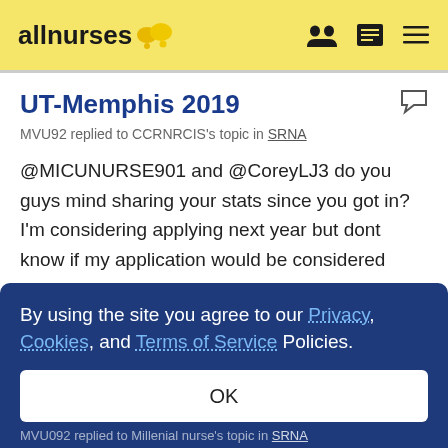allnurses
UT-Memphis 2019
MVU92 replied to CCRNRCIS's topic in SRNA
@MICUNURSE901 and @CoreyLJ3 do you guys mind sharing your stats since you got in? I'm considering applying next year but dont know if my application would be considered
By using the site you agree to our Privacy, Cookies, and Terms of Service Policies.
OK
MVU092 replied to Millenial nurse's topic in SRNA